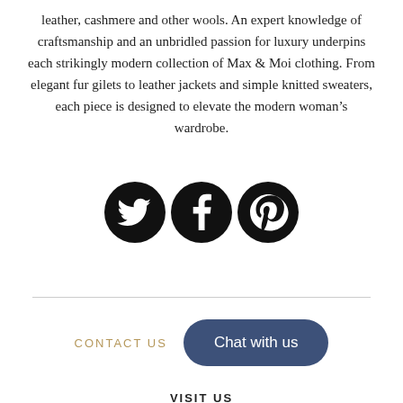leather, cashmere and other wools. An expert knowledge of craftsmanship and an unbridled passion for luxury underpins each strikingly modern collection of Max & Moi clothing. From elegant fur gilets to leather jackets and simple knitted sweaters, each piece is designed to elevate the modern woman’s wardrobe.
[Figure (illustration): Three social media icons (Twitter, Facebook, Pinterest) as black circles with white logos]
CONTACT US
[Figure (other): Chat with us button — rounded rectangle in dark navy/blue]
VISIT US